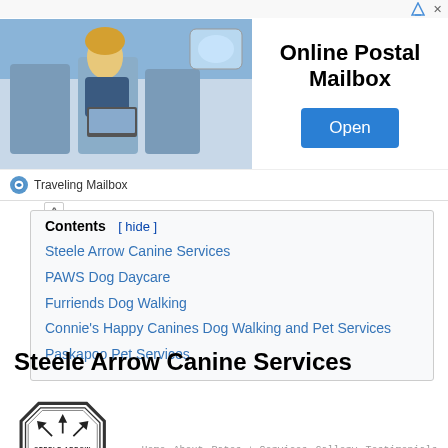[Figure (infographic): Advertisement banner for Online Postal Mailbox by Traveling Mailbox. Shows a person on an airplane with a laptop, bold headline 'Online Postal Mailbox', and a blue 'Open' button.]
Contents [ hide ]
Steele Arrow Canine Services
PAWS Dog Daycare
Furriends Dog Walking
Connie's Happy Canines Dog Walking and Pet Services
Paskapoo Pet Services
Steele Arrow Canine Services
[Figure (logo): Steele Arrow Canine Services logo — octagonal badge with arrows and a dog silhouette, with navigation links: Home, About, Rates + Services, Gallery, Testimonials, Contact]